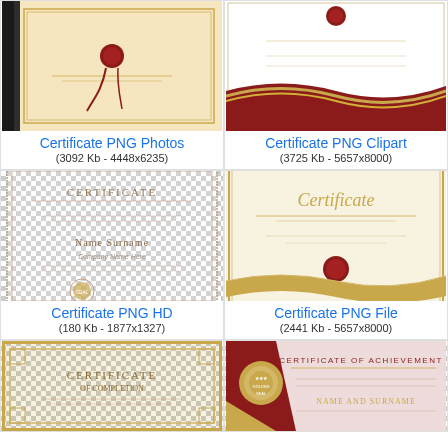[Figure (illustration): Certificate PNG Photos thumbnail - gold/cream colored certificate with red wax seal and black ribbon]
Certificate PNG Photos
(3092 Kb - 4448x6235)
[Figure (illustration): Certificate PNG Clipart thumbnail - white certificate with red and gold wavy banner at bottom]
Certificate PNG Clipart
(3725 Kb - 5657x8000)
[Figure (illustration): Certificate PNG HD thumbnail - transparent background certificate with decorative border, NAME SURNAME placeholder and gold seal]
Certificate PNG HD
(180 Kb - 1877x1327)
[Figure (illustration): Certificate PNG File thumbnail - cream certificate with gold border, cursive Certificate title, red wax seal and gold ribbon]
Certificate PNG File
(2441 Kb - 5657x8000)
[Figure (illustration): Certificate of Completion thumbnail - gold framed certificate with transparent checker background]
[Figure (illustration): Certificate of Achievement thumbnail - red and gold design with NAME AND SURNAME placeholder]